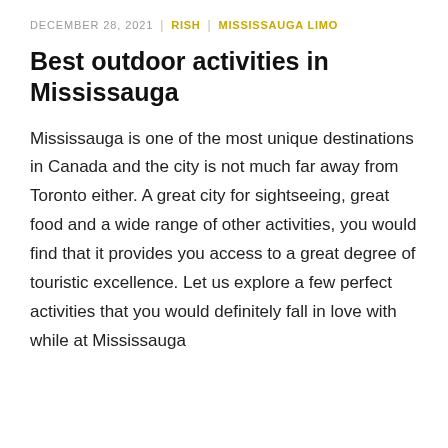DECEMBER 28, 2021 | RISH | MISSISSAUGA LIMO
Best outdoor activities in Mississauga
Mississauga is one of the most unique destinations in Canada and the city is not much far away from Toronto either. A great city for sightseeing, great food and a wide range of other activities, you would find that it provides you access to a great degree of touristic excellence. Let us explore a few perfect activities that you would definitely fall in love with while at Mississauga